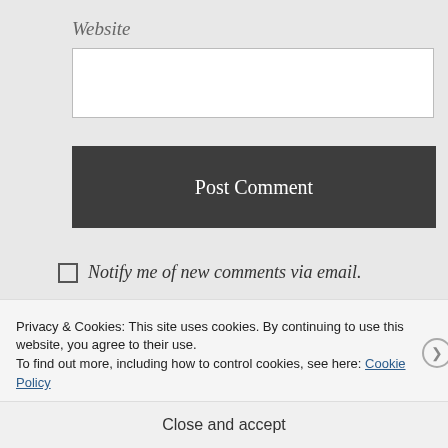Website
[Figure (screenshot): Empty text input field for Website URL]
Post Comment
Notify me of new comments via email.
Notify me of new posts via email.
Privacy & Cookies: This site uses cookies. By continuing to use this website, you agree to their use.
To find out more, including how to control cookies, see here: Cookie Policy
Close and accept